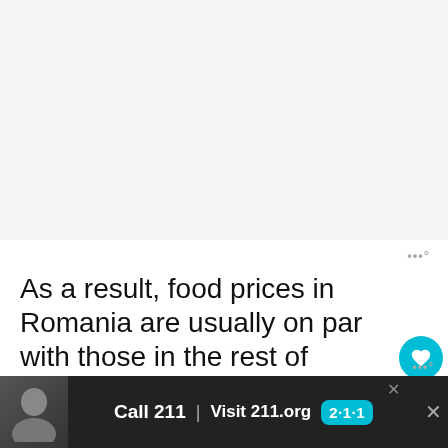[Figure (other): Blank/white advertisement placeholder area at top of page]
As a result, food prices in Romania are usually on par with those in the rest of Europe. Many are still way lower so overall you will still be able to pay less food in Romania than you would in other EU countries.
[Figure (other): Advertisement banner at bottom: Call 211 | Visit 211.org with 2-1-1 teal badge logo and a person's photo]